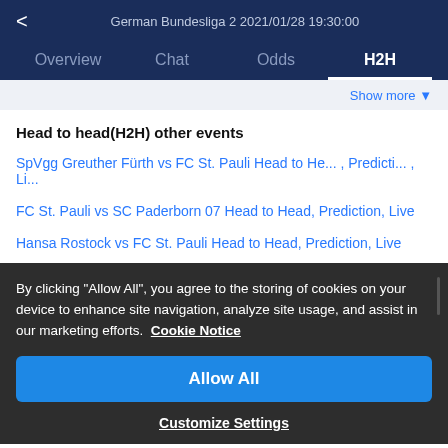< German Bundesliga 2 2021/01/28 19:30:00
Overview  Chat  Odds  H2H
Show more ▼
Head to head(H2H) other events
SpVgg Greuther Fürth vs FC St. Pauli Head to He... , Predicti... , Li...
FC St. Pauli vs SC Paderborn 07 Head to Head, Prediction, Live
Hansa Rostock vs FC St. Pauli Head to Head, Prediction, Live
By clicking "Allow All", you agree to the storing of cookies on your device to enhance site navigation, analyze site usage, and assist in our marketing efforts. Cookie Notice
Allow All
Customize Settings